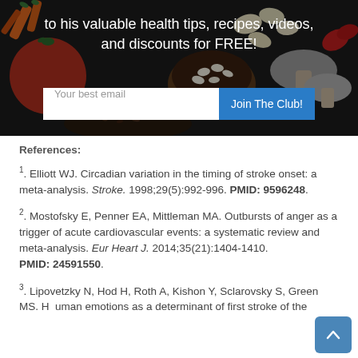[Figure (photo): Food banner image with vegetables and health-food items (tomato, carrots, mushrooms, beans) with dark overlay, email signup field and 'Join The Club!' button, and text 'to his valuable health tips, recipes, videos, and discounts for FREE!']
References:
1. Elliott WJ. Circadian variation in the timing of stroke onset: a meta-analysis. Stroke. 1998;29(5):992-996. PMID: 9596248.
2. Mostofsky E, Penner EA, Mittleman MA. Outbursts of anger as a trigger of acute cardiovascular events: a systematic review and meta-analysis. Eur Heart J. 2014;35(21):1404-1410. PMID: 24591550.
3. Lipovetzky N, Hod H, Roth A, Kishon Y, Sclarovsky S, Green MS. Human emotions as a determinant of first stroke of the...